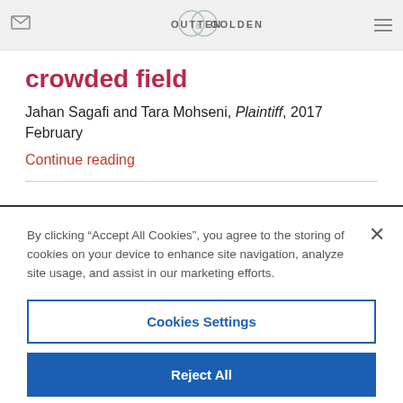OUTTEN & GOLDEN
crowded field
Jahan Sagafi and Tara Mohseni, Plaintiff, 2017 February
Continue reading
By clicking “Accept All Cookies”, you agree to the storing of cookies on your device to enhance site navigation, analyze site usage, and assist in our marketing efforts.
Cookies Settings
Reject All
Accept All Cookies